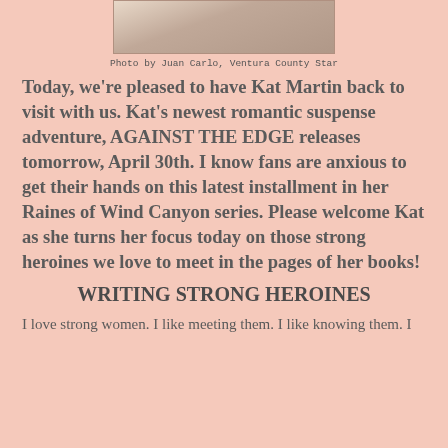[Figure (photo): Partial photo of Kat Martin cropped at top of page]
Photo by Juan Carlo, Ventura County Star
Today, we're pleased to have Kat Martin back to visit with us.  Kat's newest romantic suspense adventure, AGAINST THE EDGE releases tomorrow, April 30th.  I know fans are anxious to get their hands on this latest installment in her Raines of Wind Canyon series.  Please welcome Kat as she turns her focus today on those strong heroines we love to meet in the pages of her books!
WRITING STRONG HEROINES
I love strong women.  I like meeting them.  I like knowing them.  I